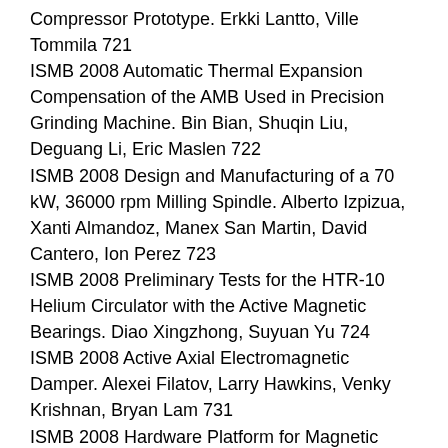Compressor Prototype. Erkki Lantto, Ville Tommila 721
ISMB 2008 Automatic Thermal Expansion Compensation of the AMB Used in Precision Grinding Machine. Bin Bian, Shuqin Liu, Deguang Li, Eric Maslen 722
ISMB 2008 Design and Manufacturing of a 70 kW, 36000 rpm Milling Spindle. Alberto Izpizua, Xanti Almandoz, Manex San Martin, David Cantero, Ion Perez 723
ISMB 2008 Preliminary Tests for the HTR-10 Helium Circulator with the Active Magnetic Bearings. Diao Xingzhong, Suyuan Yu 724
ISMB 2008 Active Axial Electromagnetic Damper. Alexei Filatov, Larry Hawkins, Venky Krishnan, Bryan Lam 731
ISMB 2008 Hardware Platform for Magnetic Bearing Control in Machine-Tool Applications. David Cantero,